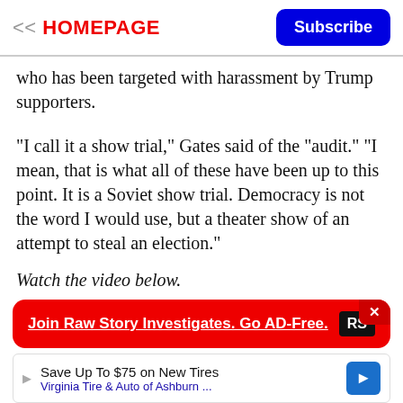<< HOMEPAGE  Subscribe
who has been targeted with harassment by Trump supporters.
"I call it a show trial," Gates said of the "audit." "I mean, that is what all of these have been up to this point. It is a Soviet show trial. Democracy is not the word I would use, but a theater show of an attempt to steal an election."
Watch the video below.
[Figure (screenshot): Red banner advertisement for Raw Story Investigates with text 'Join Raw Story Investigates. Go AD-Free.' and RS logo, with a close (x) button]
[Figure (screenshot): Bottom advertisement: 'Save Up To $75 on New Tires - Virginia Tire & Auto of Ashburn ...' with a blue navigation arrow icon]